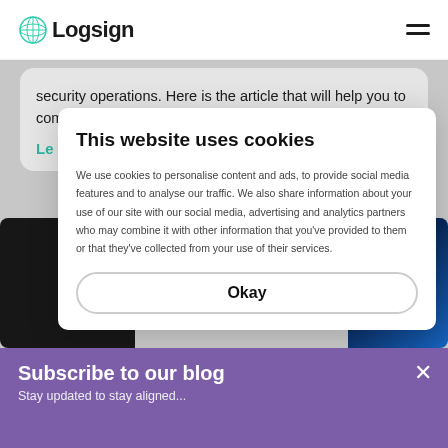Logsign
security operations. Here is the article that will help you to come up with a plan for threat...
Le
This website uses cookies
We use cookies to personalise content and ads, to provide social media features and to analyse our traffic. We also share information about your use of our site with our social media, advertising and analytics partners who may combine it with other information that you've provided to them or that they've collected from your use of their services.
Okay
Subscribe to our blog
Stay updated to stay aligned...